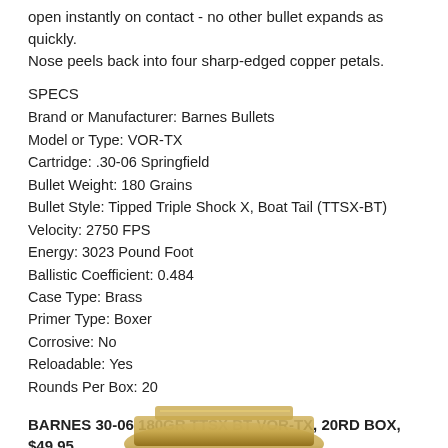open instantly on contact - no other bullet expands as quickly. Nose peels back into four sharp-edged copper petals.
SPECS
Brand or Manufacturer: Barnes Bullets
Model or Type: VOR-TX
Cartridge: .30-06 Springfield
Bullet Weight: 180 Grains
Bullet Style: Tipped Triple Shock X, Boat Tail (TTSX-BT)
Velocity: 2750 FPS
Energy: 3023 Pound Foot
Ballistic Coefficient: 0.484
Case Type: Brass
Primer Type: Boxer
Corrosive: No
Reloadable: Yes
Rounds Per Box: 20
BARNES 30-06 180GR TTSX BT VOR-TX, 20RD BOX, $49.95
https://www.robertrtg.com/store/pc/BARNES-30-06-180GR-TTSX-BT-VOR-TX-20RD-BOX-8p9412.htm
[Figure (photo): Photo of Barnes VOR-TX ammunition box at the bottom of the page]